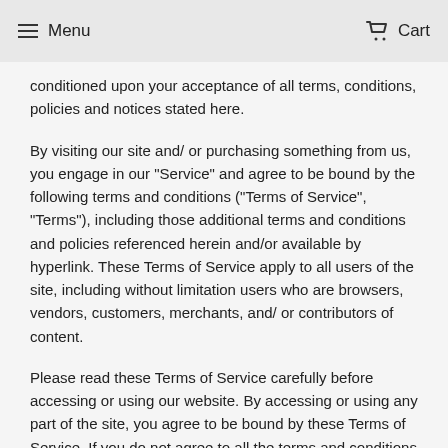Menu   Cart
conditioned upon your acceptance of all terms, conditions, policies and notices stated here.
By visiting our site and/ or purchasing something from us, you engage in our "Service" and agree to be bound by the following terms and conditions ("Terms of Service", "Terms"), including those additional terms and conditions and policies referenced herein and/or available by hyperlink. These Terms of Service apply to all users of the site, including without limitation users who are browsers, vendors, customers, merchants, and/ or contributors of content.
Please read these Terms of Service carefully before accessing or using our website. By accessing or using any part of the site, you agree to be bound by these Terms of Service. If you do not agree to all the terms and conditions of this agreement, then you may not access the website or use any services. If these Terms of Service are considered an offer,